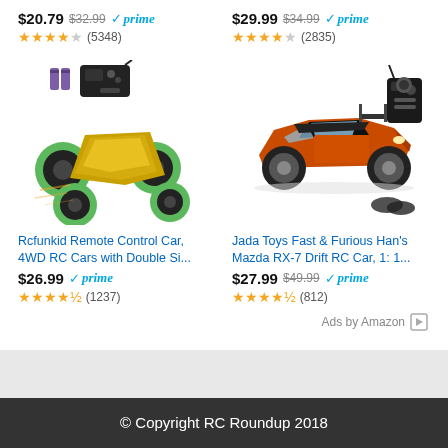$20.79 $32.99 ✓prime ★★★★☆ (5348)
$29.99 $34.99 ✓prime ★★★★☆ (2835)
[Figure (photo): RC stunt car with large green wheels, double-sided, with batteries and remote controller shown above]
[Figure (photo): Jada Toys Fast & Furious orange Mazda RX-7 drift RC car with remote controller and extra tires]
Rcfunkid Remote Control Car, 4WD RC Cars with Double Si...
Jada Toys Fast & Furious Han's Mazda RX-7 Drift RC Car, 1: 1...
$26.99 ✓prime ★★★★½ (1237)
$27.99 $49.99 ✓prime ★★★★½ (812)
Ads by Amazon ▷
© Copyright RC Roundup 2018